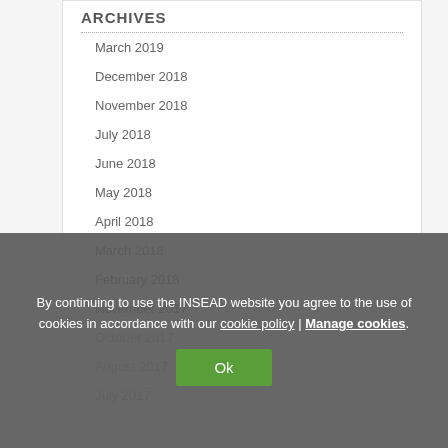ARCHIVES
March 2019
December 2018
November 2018
July 2018
June 2018
May 2018
April 2018
March 2018
February 2018
November 2017
October 2017
August 2017
July 2017
By continuing to use the INSEAD website you agree to the use of cookies in accordance with our cookie policy | Manage cookies.
Ok